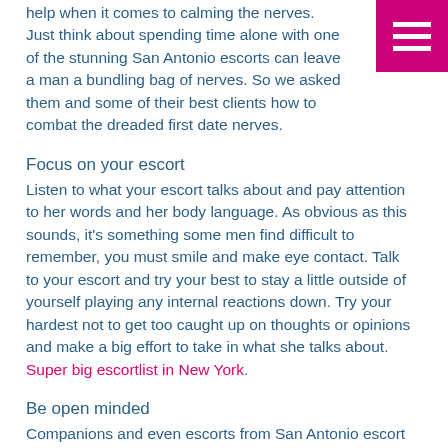help when it comes to calming the nerves. Just think about spending time alone with one of the stunning San Antonio escorts can leave a man a bundling bag of nerves. So we asked them and some of their best clients how to combat the dreaded first date nerves.
Focus on your escort
Listen to what your escort talks about and pay attention to her words and her body language. As obvious as this sounds, it's something some men find difficult to remember, you must smile and make eye contact. Talk to your escort and try your best to stay a little outside of yourself playing any internal reactions down. Try your hardest not to get too caught up on thoughts or opinions and make a big effort to take in what she talks about. Super big escortlist in New York.
Be open minded
Companions and even escorts from San Antonio escort agencies come from all walks of life so focus on the positive possibilities of your date by holding back on the judgement. Try not to dwell on trivial details or personal assumptions and just enjoy the moment. If you're optimistic and open then you'll notice a better reaction